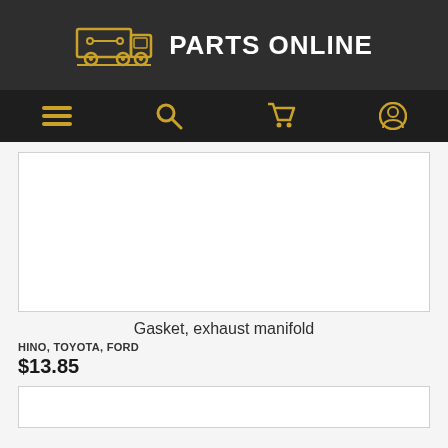PARTS ONLINE
[Figure (screenshot): Navigation bar with hamburger menu, search, cart, and user account icons]
[Figure (photo): Product image area (white box, image not visible in this view)]
Gasket, exhaust manifold
HINO, TOYOTA, FORD
$13.85
[Figure (photo): Second product image area (partially visible at bottom)]